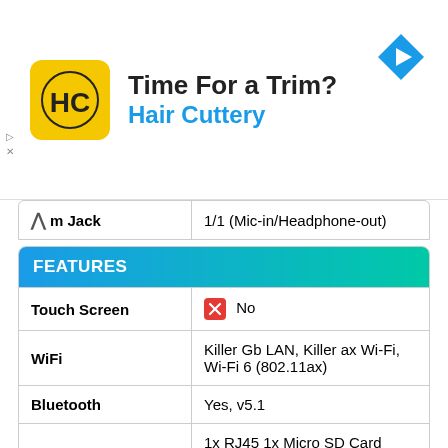[Figure (advertisement): Hair Cuttery ad banner with HC logo on yellow background, text 'Time For a Trim?' and 'Hair Cuttery' in blue, navigation arrow icon top right]
| m Jack | 1/1 (Mic-in/Headphone-out) |
FEATURES
| Touch Screen | No |
| WiFi | Killer Gb LAN, Killer ax Wi-Fi, Wi-Fi 6 (802.11ax) |
| Bluetooth | Yes, v5.1 |
| USB | 1x RJ45 1x Micro SD Card Reader 1x Mini-DisplayPort 1x Type-C (USB3.2 Gen2 / DP / Thunderbolt3) 1x Type-C USB3.2 Gen2 4x Type-A USB3.2 Gen2 |
OTHER
| Other Features | Per-Key RGB Backlight Keyboard |